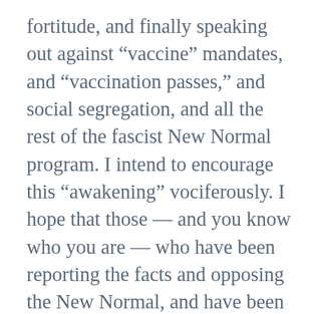fortitude, and finally speaking out against “vaccine” mandates, and “vaccination passes,” and social segregation, and all the rest of the fascist New Normal program. I intend to encourage this “awakening” vociferously. I hope that those — and you know who you are — who have been reporting the facts and opposing the New Normal, and have been ridiculed, demonized, gaslighted, censored, slandered, threatened, and otherwise abused, on a daily basis for 21 months, as our more “prominent” colleagues — and you know who you are — sat by in silence, or took part in the Hate Fest, will